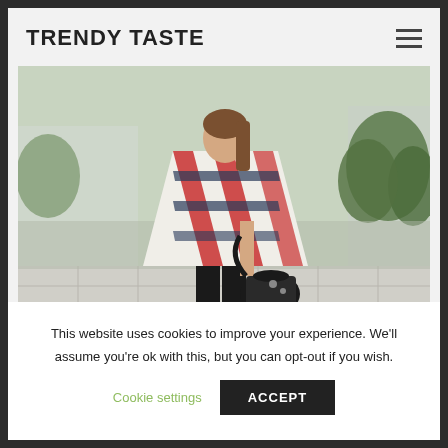TRENDY TASTE
[Figure (photo): Fashion photo of a woman standing outdoors wearing a large red, white, and navy plaid blanket scarf over a denim jacket and black pants, carrying a black leather handbag. Urban outdoor background with buildings and trees.]
Morning guys! Today I have another textures and colors mix I love: leather, plaid and denim. They all together look really fresh...
This website uses cookies to improve your experience. We'll assume you're ok with this, but you can opt-out if you wish.
Cookie settings    ACCEPT